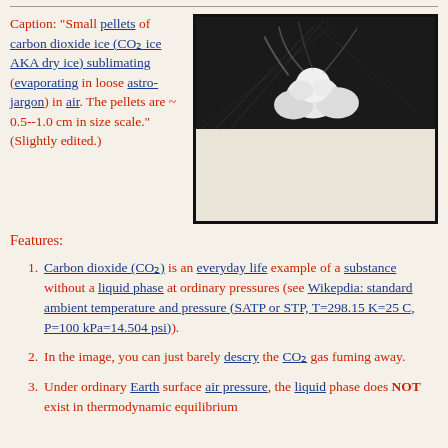Caption: "Small pellets of carbon dioxide ice (CO_2 ice AKA dry ice) sublimating (evaporating in loose astro-jargon) in air. The pellets are ~ 0.5--1.0 cm in size scale." (Slightly edited.)
[Figure (photo): Photo of small white pellets of dry ice (CO2) sublimating on a dark background, with vapour visible. The upper portion shows the dark background with white pellets, the lower portion shows a lighter area.]
Features:
Carbon dioxide (CO_2) is an everyday life example of a substance without a liquid phase at ordinary pressures (see Wikepdia: standard ambient temperature and pressure (SATP or STP, T=298.15 K=25 C, P=100 kPa=14.504 psi)).
In the image, you can just barely descry the CO_2 gas fuming away.
Under ordinary Earth surface air pressure, the liquid phase does NOT exist in thermodynamic equilibrium